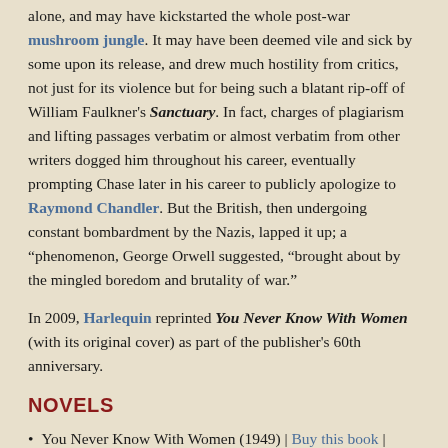alone, and may have kickstarted the whole post-war mushroom jungle. It may have been deemed vile and sick by some upon its release, and drew much hostility from critics, not just for its violence but for being such a blatant rip-off of William Faulkner's Sanctuary. In fact, charges of plagiarism and lifting passages verbatim or almost verbatim from other writers dogged him throughout his career, eventually prompting Chase later in his career to publicly apologize to Raymond Chandler. But the British, then undergoing constant bombardment by the Nazis, lapped it up; a "phenomenon, George Orwell suggested, "brought about by the mingled boredom and brutality of war."
In 2009, Harlequin reprinted You Never Know With Women (with its original cover) as part of the publisher's 60th anniversary.
NOVELS
You Never Know With Women (1949) | Buy this book | Kindle it!